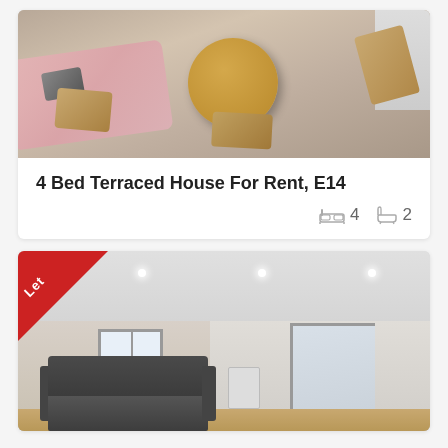[Figure (photo): Overhead/fish-eye view of a dining area with a round wooden table, chairs, pink rug, laptop, and a bookshelf in the corner]
4 Bed Terraced House For Rent, E14
4 bedrooms, 2 bathrooms (icons shown)
[Figure (photo): Interior photo of a living room with leather sofa, recessed ceiling lights, a window, and a door opening. A red 'Let' triangle badge is in the top-left corner.]